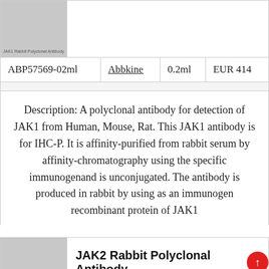[Figure (photo): JAK1 Rabbit Polyclonal Antibody product image placeholder, grey square with label text at bottom]
| Catalog No. | Supplier | Volume | Price |
| --- | --- | --- | --- |
| ABP57569-02ml | Abbkine | 0.2ml | EUR 414 |
Description: A polyclonal antibody for detection of JAK1 from Human, Mouse, Rat. This JAK1 antibody is for IHC-P. It is affinity-purified from rabbit serum by affinity-chromatography using the specific immunogenand is unconjugated. The antibody is produced in rabbit by using as an immunogen recombinant protein of JAK1
[Figure (photo): JAK2 Rabbit Polyclonal Antibody product image placeholder, grey square with label text at bottom]
JAK2 Rabbit Polyclonal Antibody